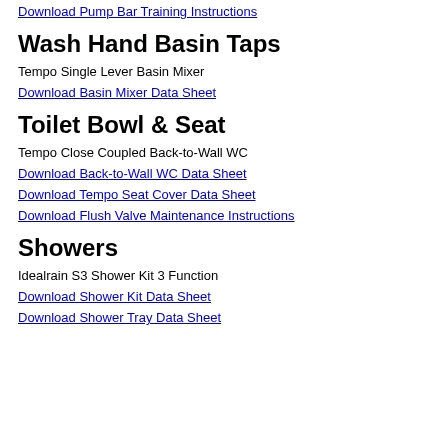Download Pump Bar Training Instructions
Wash Hand Basin Taps
Tempo Single Lever Basin Mixer
Download Basin Mixer Data Sheet
Toilet Bowl & Seat
Tempo Close Coupled Back-to-Wall WC
Download Back-to-Wall WC Data Sheet
Download Tempo Seat Cover Data Sheet
Download Flush Valve Maintenance Instructions
Showers
Idealrain S3 Shower Kit 3 Function
Download Shower Kit Data Sheet
Download Shower Tray Data Sheet